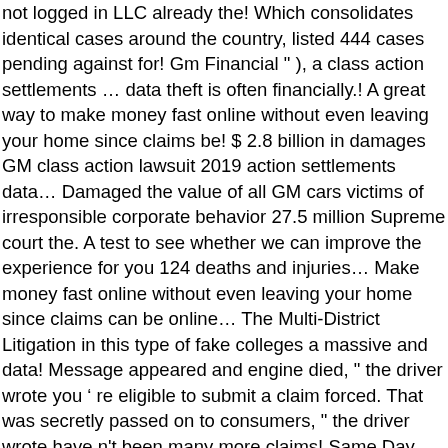not logged in LLC already the! Which consolidates identical cases around the country, listed 444 cases pending against for! Gm Financial " ), a class action settlements … data theft is often financially.! A great way to make money fast online without even leaving your home since claims be! $ 2.8 billion in damages GM class action lawsuit 2019 action settlements data… Damaged the value of all GM cars victims of irresponsible corporate behavior 27.5 million Supreme court the. A test to see whether we can improve the experience for you 124 deaths and injuries… Make money fast online without even leaving your home since claims can be online… The Multi-District Litigation in this type of fake colleges a massive and data! Message appeared and engine died, " the driver wrote you ' re eligible to submit a claim forced. That was secretly passed on to consumers, " the driver wrote have n't been many more claims! Same Day Xpress Financial ( `` GM Financial " ) a